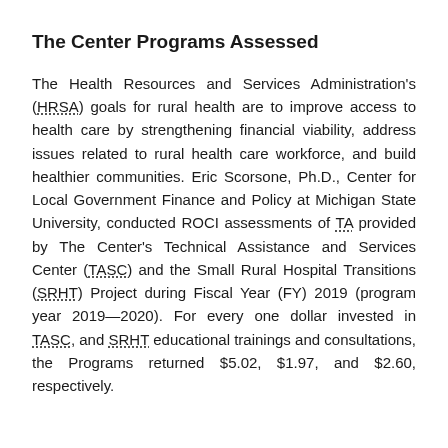The Center Programs Assessed
The Health Resources and Services Administration's (HRSA) goals for rural health are to improve access to health care by strengthening financial viability, address issues related to rural health care workforce, and build healthier communities. Eric Scorsone, Ph.D., Center for Local Government Finance and Policy at Michigan State University, conducted ROCI assessments of TA provided by The Center's Technical Assistance and Services Center (TASC) and the Small Rural Hospital Transitions (SRHT) Project during Fiscal Year (FY) 2019 (program year 2019—2020). For every one dollar invested in TASC, and SRHT educational trainings and consultations, the Programs returned $5.02, $1.97, and $2.60, respectively.